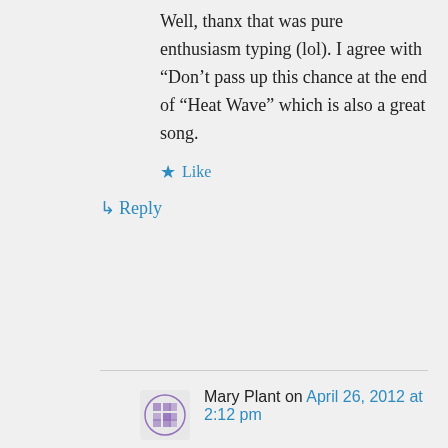Well, thanx that was pure enthusiasm typing (lol). I agree with “Don’t pass up this chance at the end of “Heat Wave” which is also a great song.
★ Like
↳ Reply
Mary Plant on April 26, 2012 at 2:12 pm
Damecia – if there’s anyone on this planet who can related to “pure enthusiasm typing”, it would be my